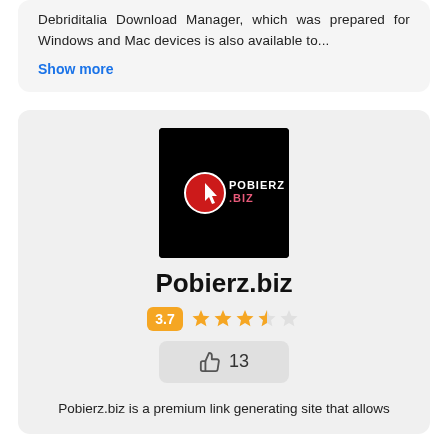Debriditalia Download Manager, which was prepared for Windows and Mac devices is also available to...
Show more
[Figure (logo): Pobierz.biz logo — black square background with red circular icon and white/pink text reading POBIERZ.BIZ]
Pobierz.biz
3.7 (star rating: 3.7 out of 5)
👍 13
Pobierz.biz is a premium link generating site that allows